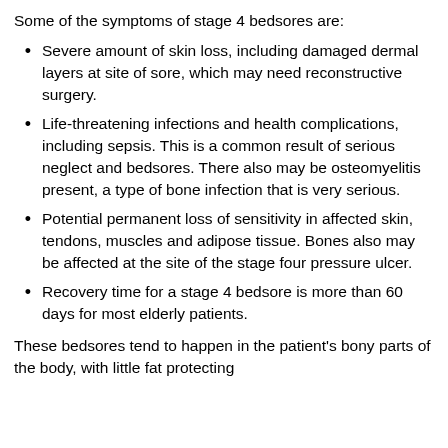Some of the symptoms of stage 4 bedsores are:
Severe amount of skin loss, including damaged dermal layers at site of sore, which may need reconstructive surgery.
Life-threatening infections and health complications, including sepsis. This is a common result of serious neglect and bedsores. There also may be osteomyelitis present, a type of bone infection that is very serious.
Potential permanent loss of sensitivity in affected skin, tendons, muscles and adipose tissue. Bones also may be affected at the site of the stage four pressure ulcer.
Recovery time for a stage 4 bedsore is more than 60 days for most elderly patients.
These bedsores tend to happen in the patient's bony parts of the body, with little fat protecting